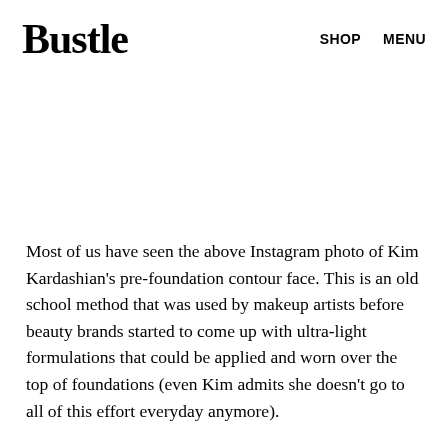Bustle   SHOP   MENU
[Figure (photo): Blank white space placeholder where an Instagram photo of Kim Kardashian's pre-foundation contour face would appear.]
Most of us have seen the above Instagram photo of Kim Kardashian's pre-foundation contour face. This is an old school method that was used by makeup artists before beauty brands started to come up with ultra-light formulations that could be applied and worn over the top of foundations (even Kim admits she doesn't go to all of this effort everyday anymore).